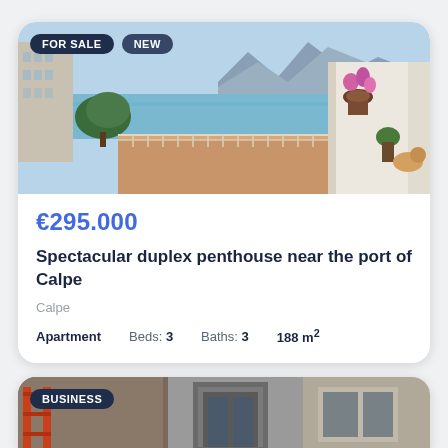[Figure (photo): Balcony view of seaside town with mountains in background, potted flowers on balcony railing]
FOR SALE
NEW
€295.000
Spectacular duplex penthouse near the port of Calpe
Calpe
Apartment   Beds: 3   Baths: 3   188 m²
[Figure (photo): Industrial or commercial property entrance, partial view with BUSINESS badge]